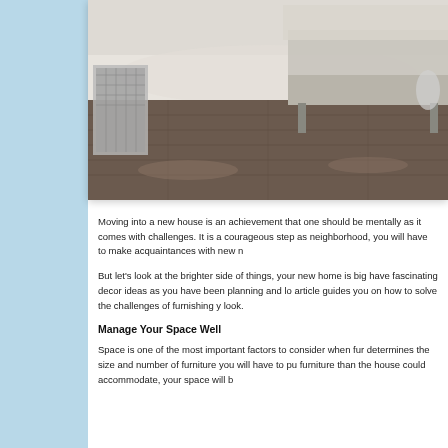[Figure (photo): Interior room photo showing dark hardwood flooring with furniture including a metallic side table and upholstered bench, with a patterned rug visible in the background]
Moving into a new house is an achievement that one should be mentally as it comes with challenges. It is a courageous step as neighborhood, you will have to make acquaintances with new n
But let's look at the brighter side of things, your new home is big have fascinating decor ideas as you have been planning and lo article guides you on how to solve the challenges of furnishing y look.
Manage Your Space Well
Space is one of the most important factors to consider when fur determines the size and number of furniture you will have to pu furniture than the house could accommodate, your space will b